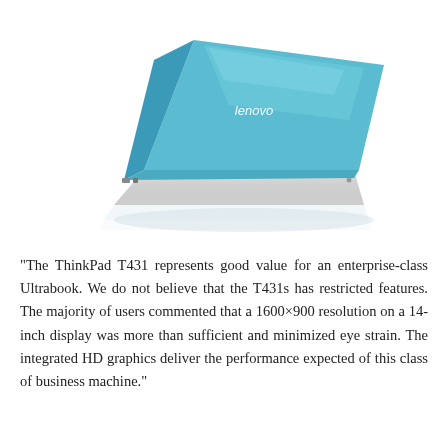[Figure (photo): A Lenovo laptop (likely IdeaPad) photographed from a rear three-quarter angle, showing the teal/light blue metallic lid with the Lenovo logo in white, and the open keyboard base in silver/white. The laptop is open at approximately 120 degrees.]
“The ThinkPad T431 represents good value for an enterprise-class Ultrabook. We do not believe that the T431s has restricted features. The majority of users commented that a 1600×900 resolution on a 14-inch display was more than sufficient and minimized eye strain. The integrated HD graphics deliver the performance expected of this class of business machine.”